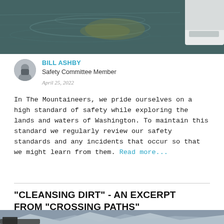[Figure (photo): Close-up photo of dark water surface with a white boat hull visible at the right edge, ripples and reflections visible]
BILL ASHBY
Safety Committee Member
April 25, 2022
In The Mountaineers, we pride ourselves on a high standard of safety while exploring the lands and waters of Washington. To maintain this standard we regularly review our safety standards and any incidents that occur so that we might learn from them. Read more...
"CLEANSING DIRT" - AN EXCERPT FROM "CROSSING PATHS"
[Figure (photo): Partial photo at bottom of page showing snowy or rocky mountain scenery]